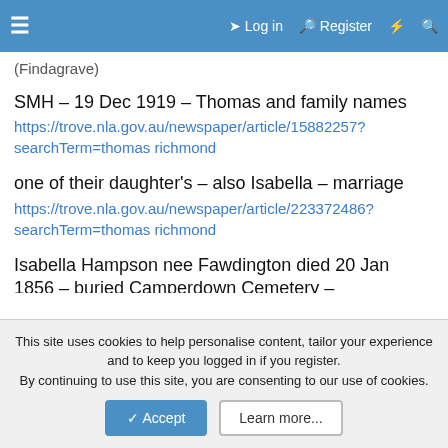≡  Log in  Register  ⚡  🔍
(Findagrave)
SMH – 19 Dec 1919 – Thomas and family names
https://trove.nla.gov.au/newspaper/article/15882257?searchTerm=thomas richmond
one of their daughter's – also Isabella – marriage
https://trove.nla.gov.au/newspaper/article/223372486?searchTerm=thomas richmond
Isabella Hampson nee Fawdington died 20 Jan 1856 – buried Camperdown Cemetery – V185605061 122
https://trove.nla.gov.au/newspaper/article/12983396?searchTerm=isabella hampson
Kenrick F A remarried 1857 Sydney to Elizabeth Knight (1820-
This site uses cookies to help personalise content, tailor your experience and to keep you logged in if you register.
By continuing to use this site, you are consenting to our use of cookies.
Accept    Learn more...